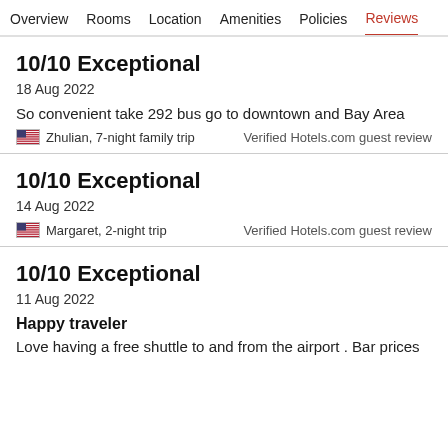Overview  Rooms  Location  Amenities  Policies  Reviews
10/10 Exceptional
18 Aug 2022
So convenient take 292 bus go to downtown and Bay Area
Zhulian, 7-night family trip
Verified Hotels.com guest review
10/10 Exceptional
14 Aug 2022
Margaret, 2-night trip
Verified Hotels.com guest review
10/10 Exceptional
11 Aug 2022
Happy traveler
Love having a free shuttle to and from the airport . Bar prices